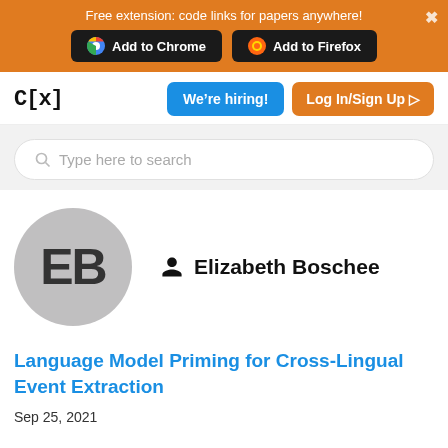Free extension: code links for papers anywhere!
Add to Chrome   Add to Firefox
C[x]
We're hiring!
Log In/Sign Up
Type here to search
[Figure (illustration): Circular avatar with initials EB on grey background]
Elizabeth Boschee
Language Model Priming for Cross-Lingual Event Extraction
Sep 25, 2021